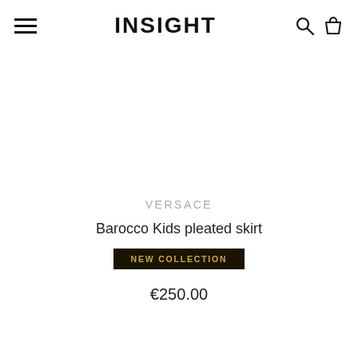INSIGHT
VERSACE
Barocco Kids pleated skirt
NEW COLLECTION
€250.00